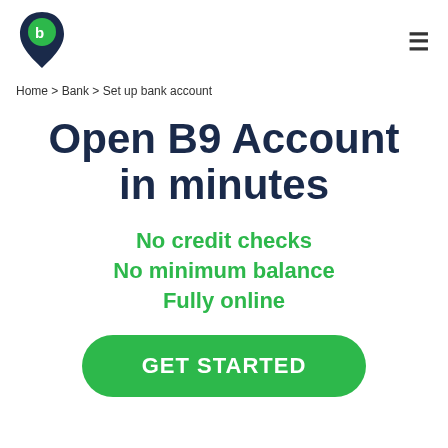[Figure (logo): B9 logo: a dark teardrop/pin shape with a green circle containing the letter 'b' and the number 9]
≡
Home > Bank > Set up bank account
Open B9 Account in minutes
No credit checks
No minimum balance
Fully online
GET STARTED